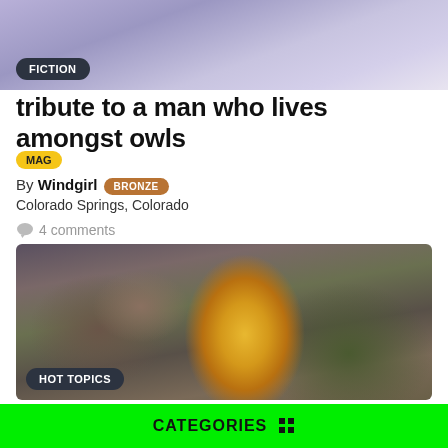[Figure (photo): Top banner image showing a purple/blue cloudy sky background with a dark 'FICTION' badge overlay at bottom left]
tribute to a man who lives amongst owls
MAG
By Windgirl BRONZE
Colorado Springs, Colorado
4 comments
[Figure (photo): Close-up photograph of a yellow flower (black-eyed Susan type) with dark center against blurred green and brown background. A 'HOT TOPICS' badge appears at bottom left.]
CATEGORIES